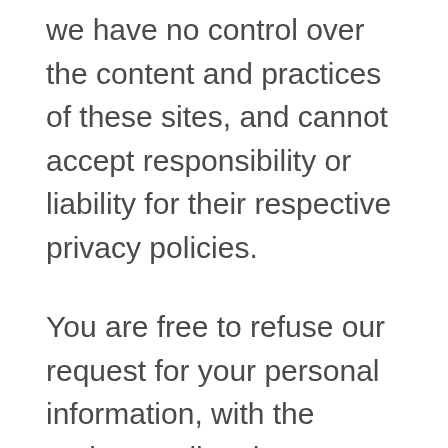we have no control over the content and practices of these sites, and cannot accept responsibility or liability for their respective privacy policies.
You are free to refuse our request for your personal information, with the understanding that we may be unable to provide you with some of your desired services.
Your continued use of our website will be regarded as acceptance of our practices